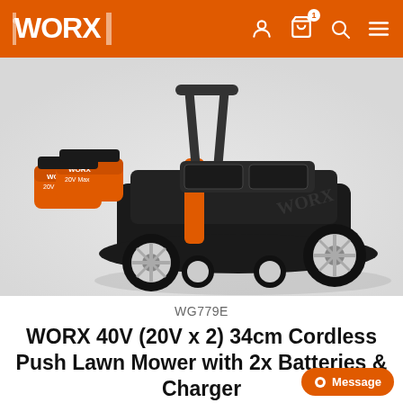WORX
[Figure (photo): WORX 40V cordless push lawn mower in black and orange color, with two orange batteries visible in the upper left corner, shown on a light grey background. The mower has large dark wheels, an orange handle accent, and the WORX brand name on the side.]
WG779E
WORX 40V (20V x 2) 34cm Cordless Push Lawn Mower with 2x Batteries & Charger
$499.00